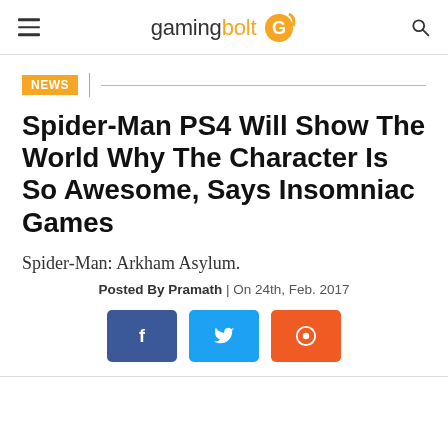gamingbolt
NEWS
Spider-Man PS4 Will Show The World Why The Character Is So Awesome, Says Insomniac Games
Spider-Man: Arkham Asylum.
Posted By Pramath | On 24th, Feb. 2017